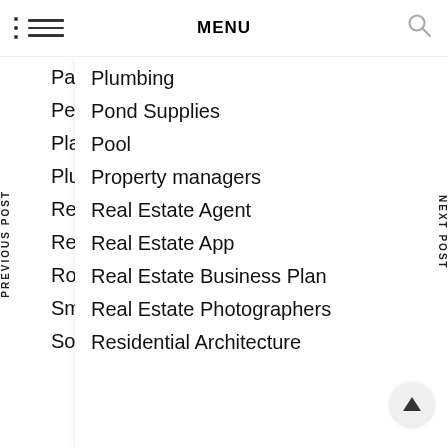MENU
Painting, Wall Paper & Art
Pet Supplies
Planters
Plumbing
Pond Supplies
Pool
Property managers
Real Estate Agent
Real Estate App
Real Estate Business Plan
Real Estate Photographers
Residential Architecture
Resources
Restaurant, Hotel, Home & office service
Roofs and Gutters
Smart Home
Solo Art Show